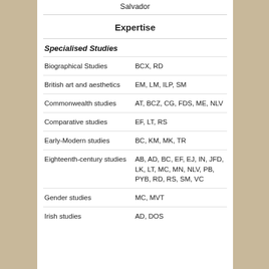Salvador
Expertise
Specialised Studies
| Study | Codes |
| --- | --- |
| Biographical Studies | BCX, RD |
| British art and aesthetics | EM, LM, ILP, SM |
| Commonwealth studies | AT, BCZ, CG, FDS, ME, NLV |
| Comparative studies | EF, LT, RS |
| Early-Modern studies | BC, KM, MK, TR |
| Eighteenth-century studies | AB, AD, BC, EF, EJ, IN, JFD, LK, LT, MC, MN, NLV, PB, PYB, RD, RS, SM, VC |
| Gender studies | MC, MVT |
| Irish studies | AD, DOS |